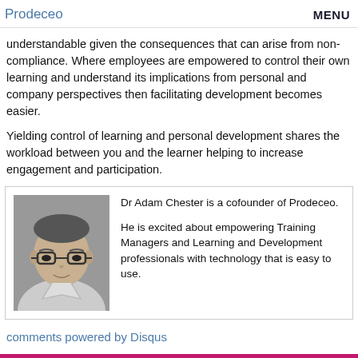Prodeceo   MENU
understandable given the consequences that can arise from non-compliance. Where employees are empowered to control their own learning and understand its implications from personal and company perspectives then facilitating development becomes easier.
Yielding control of learning and personal development shares the workload between you and the learner helping to increase engagement and participation.
[Figure (photo): Black and white headshot photo of Dr Adam Chester, cofounder of Prodeceo, a man wearing glasses]
Dr Adam Chester is a cofounder of Prodeceo.

He is excited about empowering Training Managers and Learning and Development professionals with technology that is easy to use.
comments powered by Disqus